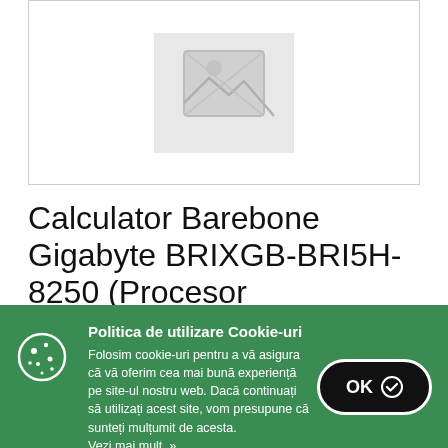[Figure (photo): Product image placeholder — grey/white image area with a broken/placeholder image icon in the center, inside a bordered rectangle.]
Calculator Barebone Gigabyte BRIXGB-BRI5H-8250 (Procesor
Politica de utilizare Cookie-uri
Folosim cookie-uri pentru a vă asigura că vă oferim cea mai bună experiență pe site-ul nostru web. Dacă continuați să utilizați acest site, vom presupune că sunteți mulțumit de acesta.
Vezi mai mult. »